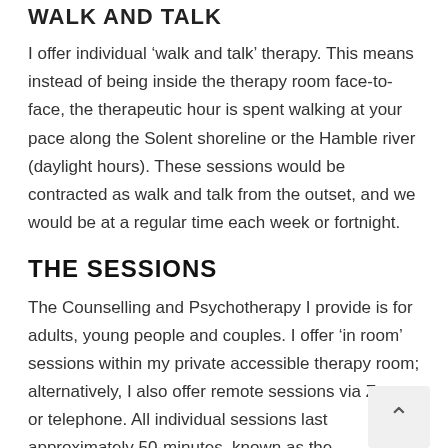WALK AND TALK
I offer individual ‘walk and talk’ therapy. This means instead of being inside the therapy room face-to-face, the therapeutic hour is spent walking at your pace along the Solent shoreline or the Hamble river (daylight hours). These sessions would be contracted as walk and talk from the outset, and we would be at a regular time each week or fortnight.
THE SESSIONS
The Counselling and Psychotherapy I provide is for adults, young people and couples. I offer ‘in room’ sessions within my private accessible therapy room; alternatively, I also offer remote sessions via Zoom or telephone. All individual sessions last approximately 50-minutes, known as the therapeutic hour, whilst couples sessions